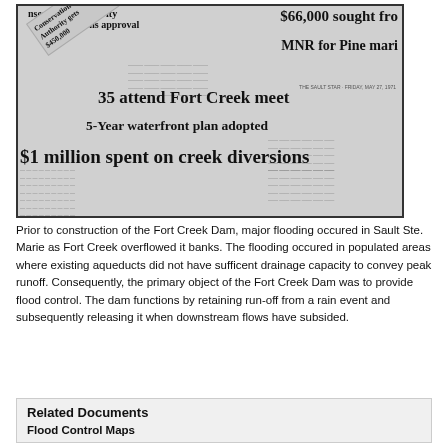[Figure (photo): A collage of black and white newspaper clippings related to Fort Creek waterfront and dam construction. Headlines visible include: '$66,000 sought from MNR for Pine marina', '35 attend Fort Creek meet', '5-Year waterfront plan adopted', '$1 million spent on creek diversions', 'Conservation Authority gets $450,000', 'conservation Authority waterfront gains approval'.]
Prior to construction of the Fort Creek Dam, major flooding occured in Sault Ste. Marie as Fort Creek overflowed it banks. The flooding occured in populated areas where existing aqueducts did not have sufficent drainage capacity to convey peak runoff. Consequently, the primary object of the Fort Creek Dam was to provide flood control. The dam functions by retaining run-off from a rain event and subsequently releasing it when downstream flows have subsided.
Related Documents
Flood Control Maps